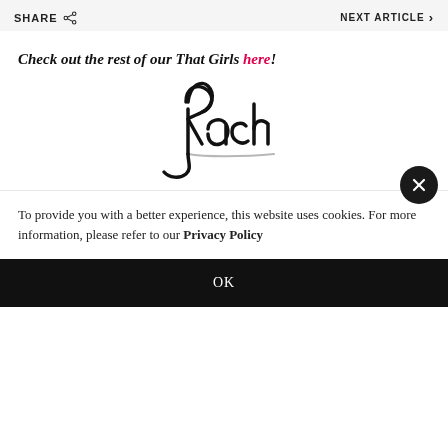SHARE | NEXT ARTICLE
Check out the rest of our That Girls here!
[Figure (illustration): Handwritten signature reading 'Rach' in bold cursive script]
To provide you with a better experience, this website uses cookies. For more information, please refer to our Privacy Policy
OK